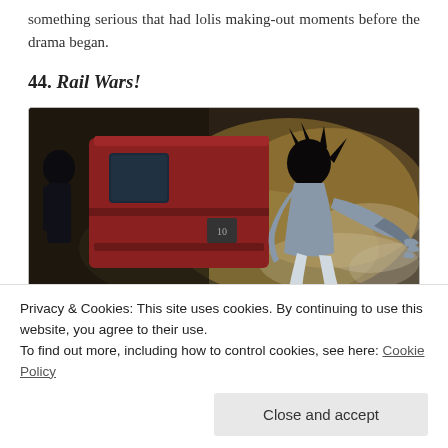something serious that had lolis making-out moments before the drama began.
44. Rail Wars!
[Figure (illustration): Anime scene showing a character in a white uniform being pushed back by a red train with dramatic smoke/lighting in the background]
Privacy & Cookies: This site uses cookies. By continuing to use this website, you agree to their use.
To find out more, including how to control cookies, see here: Cookie Policy
[Close and accept button]